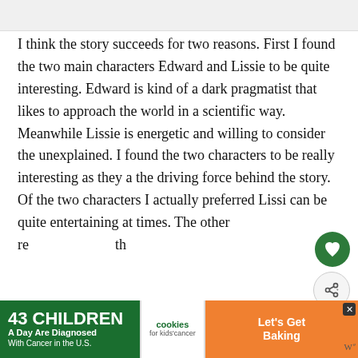I think the story succeeds for two reasons. First I found the two main characters Edward and Lissie to be quite interesting. Edward is kind of a dark pragmatist that likes to approach the world in a scientific way. Meanwhile Lissie is energetic and willing to consider the unexplained. I found the two characters to be really interesting as they a the driving force behind the story. Of the two characters I actually preferred Lissi can be quite entertaining at times. The other re th
[Figure (screenshot): Advertisement banner at bottom: green background with '43 CHILDREN A Day Are Diagnosed With Cancer in the U.S.' in white text, cookies for kids cancer logo in middle, and 'Let's Get Baking' button on orange background]